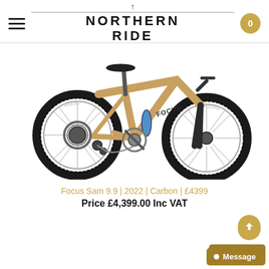NORTHERN RIDE
[Figure (photo): A tan/sand-colored Focus Sam 9.9 2022 carbon full-suspension mountain bike on a white background, with Maxxis tires on both wheels, black fork, and blue rear shock.]
Focus Sam 9.9 | 2022 | Carbon | £4399
Price £4,399.00 Inc VAT